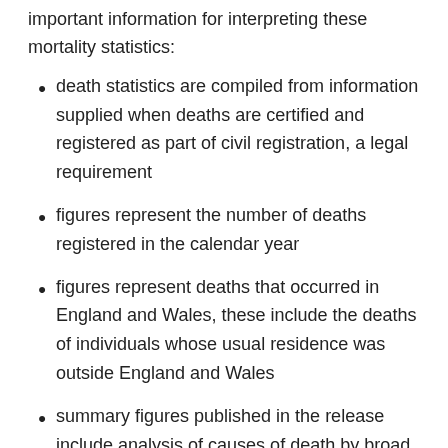important information for interpreting these mortality statistics:
death statistics are compiled from information supplied when deaths are certified and registered as part of civil registration, a legal requirement
figures represent the number of deaths registered in the calendar year
figures represent deaths that occurred in England and Wales, these include the deaths of individuals whose usual residence was outside England and Wales
summary figures published in the release include analysis of causes of death by broad disease